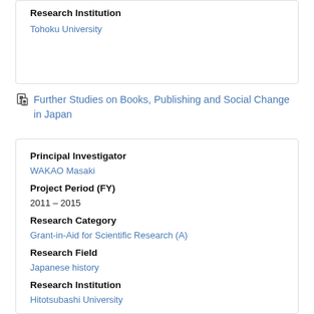Research Institution
Tohoku University
Further Studies on Books, Publishing and Social Change in Japan
Principal Investigator
WAKAO Masaki
Project Period (FY)
2011 – 2015
Research Category
Grant-in-Aid for Scientific Research (A)
Research Field
Japanese history
Research Institution
Hitotsubashi University